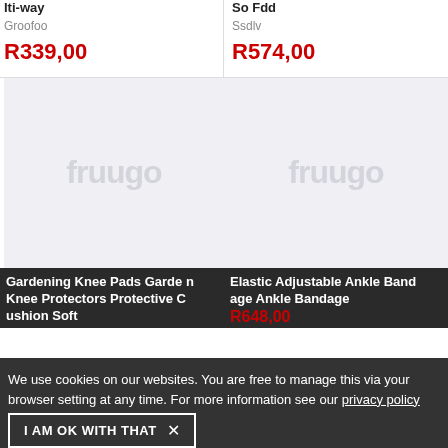Iti-way
Groofoo
R339,00
So Fdd
Ssdlv
R574,00
[Figure (logo): Fruugo watermark placeholder image - left product]
[Figure (logo): Fruugo watermark placeholder image - right product]
We use cookies on our websites. You are free to manage this via your browser setting at any time. For more information see our privacy policy
Gardening Knee Pads Gardening Knee Protectors Protective Cushion Soft
Elastic Adjustable Ankle Bandage Ankle Bandage
R648,00